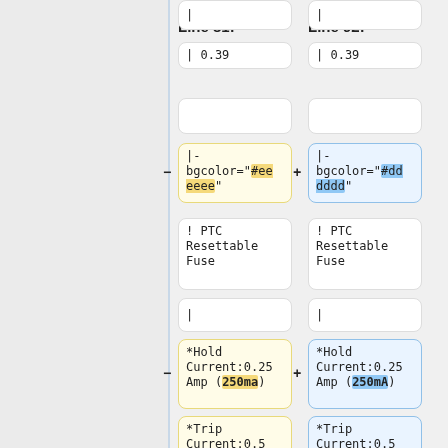Line 81:
Line 92:
| 0.39
| 0.39
|- bgcolor="#eeeeee"
|- bgcolor="#dddddd"
! PTC Resettable Fuse
! PTC Resettable Fuse
|
|
*Hold Current:0.25 Amp (250ma)
*Hold Current:0.25 Amp (250mA)
*Trip Current:0.5
*Trip Current:0.5